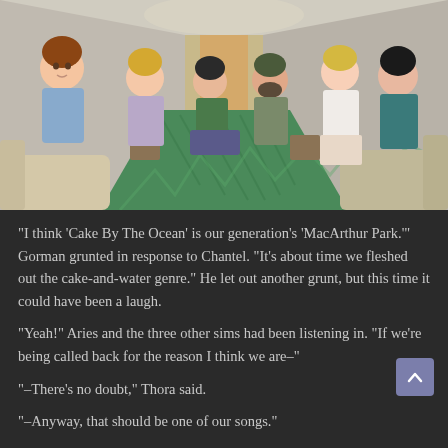[Figure (screenshot): Screenshot from The Sims 4 showing animated characters sitting in a waiting room or hallway with green chevron-patterned carpet. Characters are seated on chairs and sofas on both sides of a long corridor. Six visible Sim characters in various outfits.]
“I think ‘Cake By The Ocean’ is our generation’s ‘MacArthur Park.’” Gorman grunted in response to Chantel. “It’s about time we fleshed out the cake-and-water genre.” He let out another grunt, but this time it could have been a laugh.
“Yeah!” Aries and the three other sims had been listening in. “If we’re being called back for the reason I think we are–”
“–There’s no doubt,” Thora said.
“–Anyway, that should be one of our songs.”
“‘Birthday Hydration,’” his brother recommended